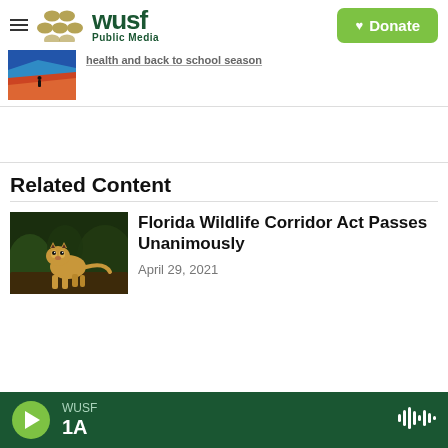WUSF Public Media — Donate
[Figure (screenshot): Partially visible article thumbnail with illustrated coastal/desert scene]
health and back to school season
Related Content
[Figure (photo): Florida panther/cougar walking through vegetation]
Florida Wildlife Corridor Act Passes Unanimously
April 29, 2021
WUSF 1A (audio player bar)